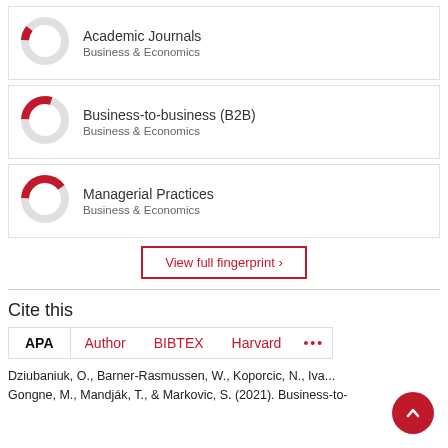[Figure (donut-chart): Small donut chart with red arc ~10%, Academic Journals card]
Academic Journals
Business & Economics
[Figure (donut-chart): Small donut chart with red arc ~30%, Business-to-business (B2B) card]
Business-to-business (B2B)
Business & Economics
[Figure (donut-chart): Small donut chart with red arc ~40%, Managerial Practices card]
Managerial Practices
Business & Economics
View full fingerprint ›
Cite this
APA  Author  BIBTEX  Harvard  •••
Dziubaniuk, O., Barner-Rasmussen, W., Koporcic, N., Iva... Gongne, M., Mandják, T., & Markovic, S. (2021). Business-to-